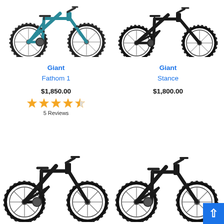[Figure (photo): Teal/blue hardtail mountain bike (Giant Fathom 1) facing right, top-left quadrant]
[Figure (photo): Black full-suspension mountain bike (Giant Stance) facing right, top-right quadrant]
Giant
Fathom 1
$1,850.00
[Figure (infographic): Orange star rating: 4.5 out of 5 stars]
5 Reviews
Giant
Stance
$1,800.00
[Figure (photo): Black full-suspension mountain bike bottom-left, partial view]
[Figure (photo): Black full-suspension mountain bike bottom-right, partial view]